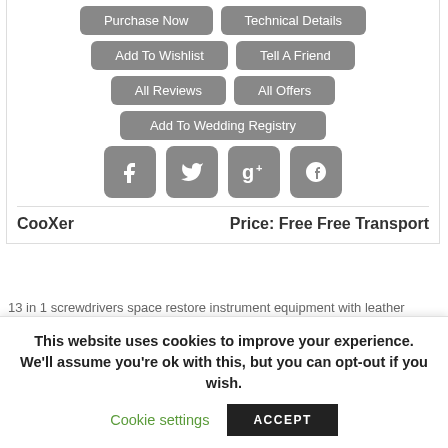[Figure (screenshot): Product page buttons: Purchase Now, Technical Details, Add To Wishlist, Tell A Friend, All Reviews, All Offers, Add To Wedding Registry, and social share buttons for Facebook, Twitter, Google+, Pinterest. Below shows CooXer brand and Price: Free Free Transport.]
13 in 1 screwdrivers space restore instrument equipment with leather procure for DJI Phantom 3 RC Drone spare aspects accessory and loads of devices
This website uses cookies to improve your experience. We'll assume you're ok with this, but you can opt-out if you wish.
Cookie settings
ACCEPT